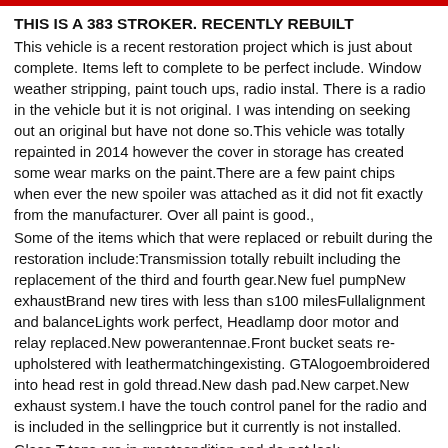THIS IS A 383 STROKER. RECENTLY REBUILT
This vehicle is a recent restoration project which is just about complete. Items left to complete to be perfect include. Window weather stripping, paint touch ups, radio instal. There is a radio in the vehicle but it is not original. I was intending on seeking out an original but have not done so.This vehicle was totally repainted in 2014 however the cover in storage has created some wear marks on the paint.There are a few paint chips when ever the new spoiler was attached as it did not fit exactly from the manufacturer. Over all paint is good.,
Some of the items which that were replaced or rebuilt during the restoration include:Transmission totally rebuilt including the replacement of the third and fourth gear.New fuel pumpNew exhaustBrand new tires with less than s100 milesFullalignment and balanceLights work perfect, Headlamp door motor and relay replaced.New powerantennae.Front bucket seats re-upholstered with leathermatchingexisting. GTAlogoembroidered into head rest in gold thread.New dash pad.New carpet.New exhaust system.I have the touch control panel for the radio and is included in the sellingprice but it currently is not installed.
Glass T tops are in greatcondition and do not leak.
This vehicle is in great condition and a strong runner. I would